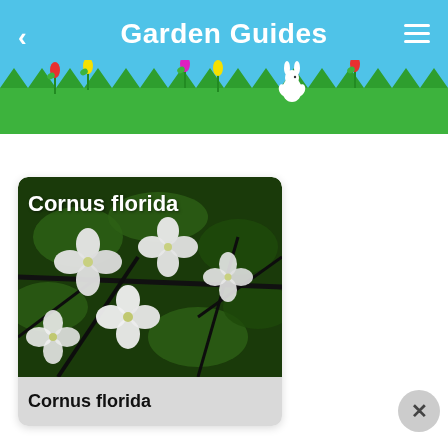Garden Guides
[Figure (photo): Photograph of Cornus florida (flowering dogwood) with white blossoms and dark branches against a green leafy background. Title 'Cornus florida' overlaid in white text at top left.]
Cornus florida